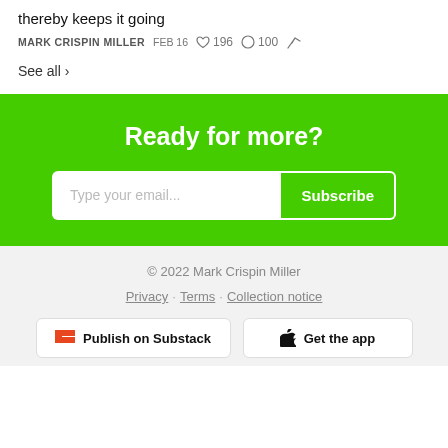thereby keeps it going
MARK CRISPIN MILLER  FEB 16  ♡ 196  ◯ 100  ↗
See all ›
Ready for more?
Type your email...  Subscribe
© 2022 Mark Crispin Miller
Privacy · Terms · Collection notice
Publish on Substack  Get the app